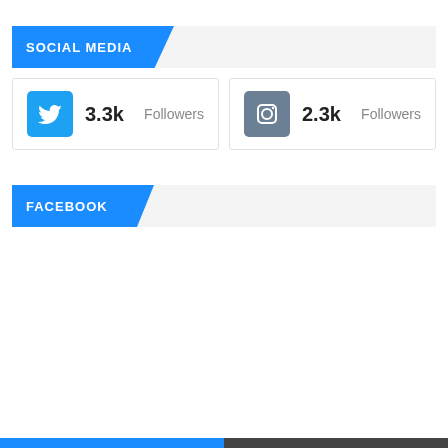SOCIAL MEDIA
[Figure (infographic): Twitter card showing 3.3k Followers]
[Figure (infographic): Instagram card showing 2.3k Followers]
FACEBOOK